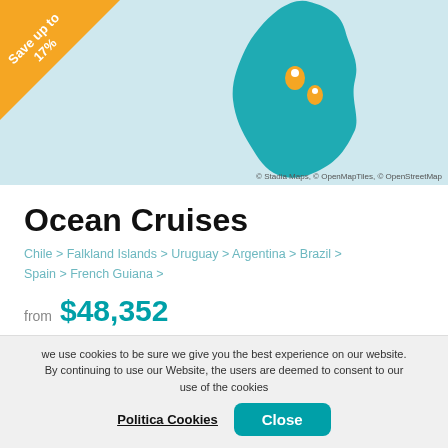[Figure (map): Map of South America region showing cruise route with teal South America outline and location markers. Orange 'Save up to 17%' badge in top-left corner. Map attribution: © Stadia Maps, © OpenMapTiles, © OpenStreetMap]
Ocean Cruises
Chile > Falkland Islands > Uruguay > Argentina > Brazil > Spain > French Guiana >
from $48,352
Tour Operator
Seabourn
Ship
Seabourn Quest
Depart from
San Antonio
Length
59 Nights
we use cookies to be sure we give you the best experience on our website. By continuing to use our Website, the users are deemed to consent to our use of the cookies
Politica Cookies
Close